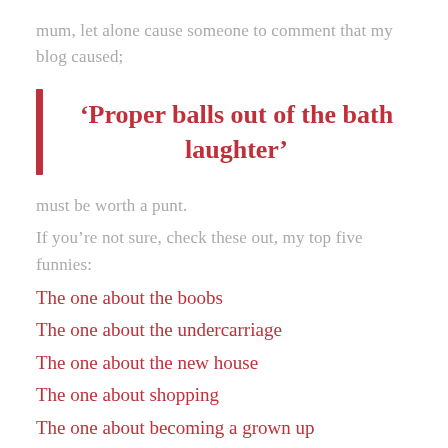mum, let alone cause someone to comment that my blog caused;
‘Proper balls out of the bath laughter’
must be worth a punt.
If you’re not sure, check these out, my top five funnies:
The one about the boobs
The one about the undercarriage
The one about the new house
The one about shopping
The one about becoming a grown up
And finally, who gets my vote for the biggy…